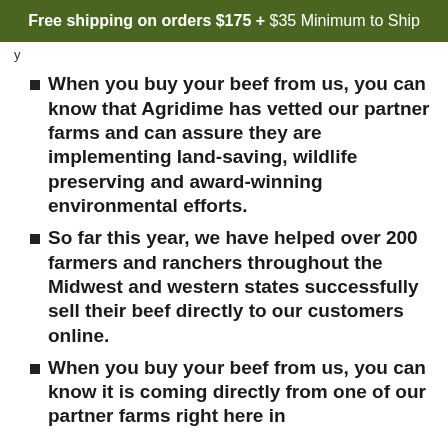Free shipping on orders $175 +
$35 Minimum to Ship
y
When you buy your beef from us, you can know that Agridime has vetted our partner farms and can assure they are implementing land-saving, wildlife preserving and award-winning environmental efforts.
So far this year, we have helped over 200 farmers and ranchers throughout the Midwest and western states successfully sell their beef directly to our customers online.
When you buy your beef from us, you can know it is coming directly from one of our partner farms right here in